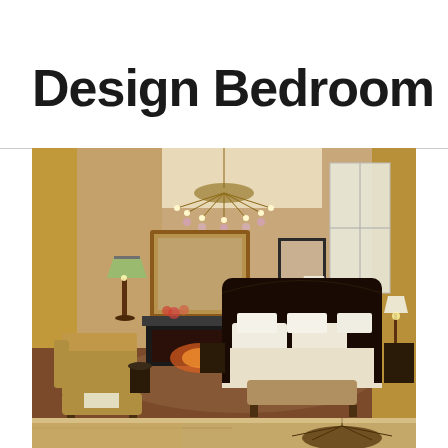Design Bedroom
[Figure (photo): Elegant traditional bedroom with dark wood four-poster bed, crystal chandelier, fireplace with gold-framed mirror above, tufted armchair, gold/brown drape curtains, bedside lamps, framed artwork, and a bench at the foot of the bed]
[Figure (photo): Partial bottom crop of another bedroom photo showing warm tones and a chandelier]